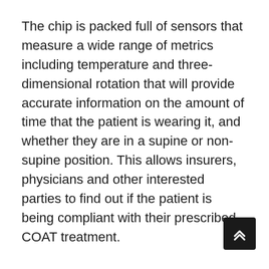The chip is packed full of sensors that measure a wide range of metrics including temperature and three-dimensional rotation that will provide accurate information on the amount of time that the patient is wearing it, and whether they are in a supine or non-supine position. This allows insurers, physicians and other interested parties to find out if the patient is being compliant with their prescribed COAT treatment.
The chip has a lifespan of 2-3 years and is able to record data for as much as six months